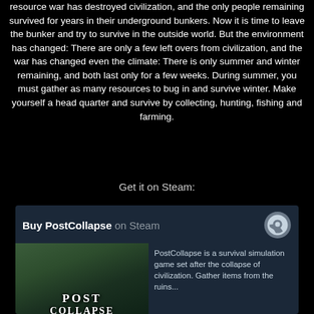resource war has destroyed civilization, and the only people remaining survived for years in their underground bunkers. Now it is time to leave the bunker and try to survive in the outside world. But the environment has changed: There are only a few left overs from civilization, and the war has changed even the climate: There is only summer and winter remaining, and both last only for a few weeks. During summer, you must gather as many resources to bug in and survive winter. Make yourself a head quarter and survive by collecting, hunting, fishing and farming.
Get it on Steam:
[Figure (screenshot): Steam store widget for 'Buy PostCollapse on Steam' showing the game logo image on the left and a description on the right, with the Steam logo icon in the top right corner.]